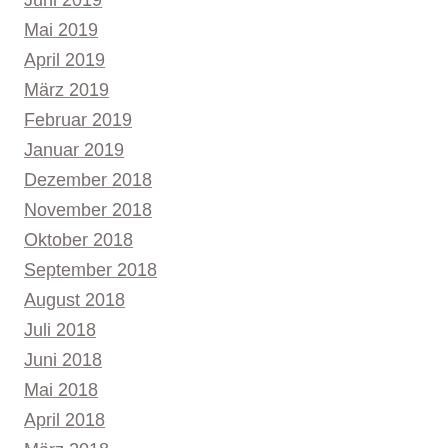Juni 2019
Mai 2019
April 2019
März 2019
Februar 2019
Januar 2019
Dezember 2018
November 2018
Oktober 2018
September 2018
August 2018
Juli 2018
Juni 2018
Mai 2018
April 2018
März 2018
Februar 2018
Januar 2018
Dezember 2017